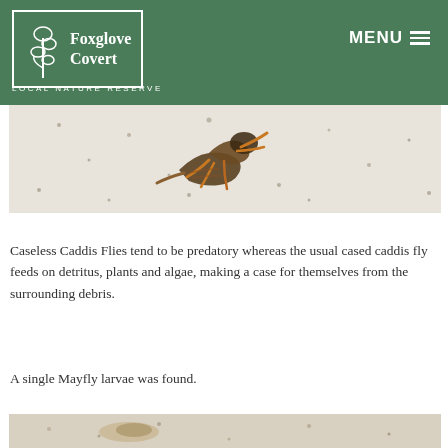Foxglove Covert LOCAL NATURE RESERVE  MENU
[Figure (photo): Close-up photograph of a caseless caddis fly larva on a white surface with dark speckles, showing brown/amber legs and body segments]
Caseless Caddis Flies tend to be predatory whereas the usual cased caddis fly feeds on detritus, plants and algae, making a case for themselves from the surrounding debris.
A single Mayfly larvae was found.
[Figure (photo): Partial photograph of another aquatic invertebrate specimen on a light surface, cropped at bottom of page]